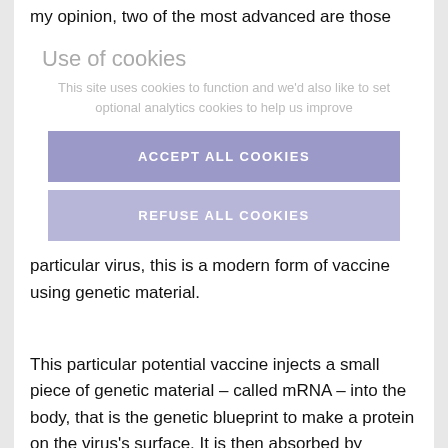my opinion, two of the most advanced are those being developed by Moderna and co-developed by BioNTech and Pfizer.
Moderna, as mentioned above, is developing mRNA-1273, which has started phase one human clinical trials in healthy volunteers. Unlike many traditional vaccines, which are a weak form of a particular virus, this is a modern form of vaccine using genetic material.
Use of cookies
This site requires cookies to function and we'd also like to set optional analytics cookies to help us improve
ACCEPT ALL COOKIES
REFUSE ALL COOKIES
This particular potential vaccine injects a small piece of genetic material – called mRNA – into the body, that is the genetic blueprint to make a protein on the virus's surface. It is then absorbed by